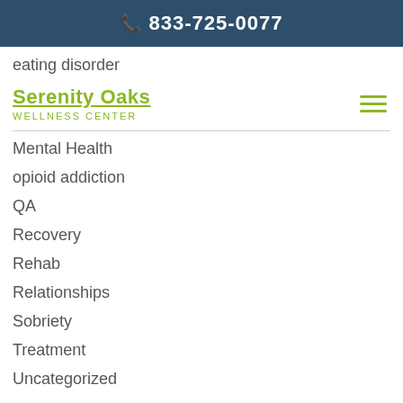☎ 833-725-0077
eating disorder
[Figure (logo): Serenity Oaks Wellness Center logo with underlined green text and hamburger menu icon]
Mental Health
opioid addiction
QA
Recovery
Rehab
Relationships
Sobriety
Treatment
Uncategorized